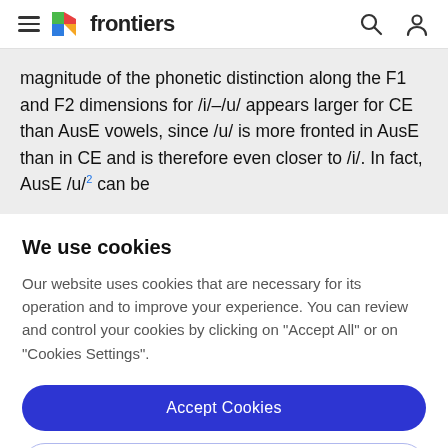frontiers
magnitude of the phonetic distinction along the F1 and F2 dimensions for /i/–/u/ appears larger for CE than AusE vowels, since /u/ is more fronted in AusE than in CE and is therefore even closer to /i/. In fact, AusE /u/² can be
We use cookies
Our website uses cookies that are necessary for its operation and to improve your experience. You can review and control your cookies by clicking on "Accept All" or on "Cookies Settings".
Accept Cookies
Cookies Settings